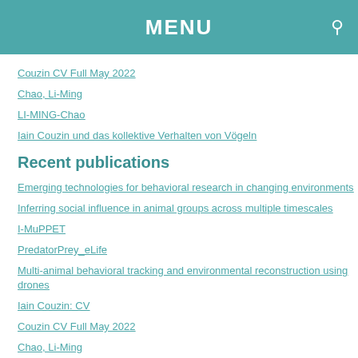MENU
Couzin CV Full May 2022
Chao, Li-Ming
LI-MING-Chao
Iain Couzin und das kollektive Verhalten von Vögeln
Recent publications
Emerging technologies for behavioral research in changing environments
Inferring social influence in animal groups across multiple timescales
I-MuPPET
PredatorPrey_eLife
Multi-animal behavioral tracking and environmental reconstruction using drones
Iain Couzin: CV
Couzin CV Full May 2022
Chao, Li-Ming
LI-MING-Chao